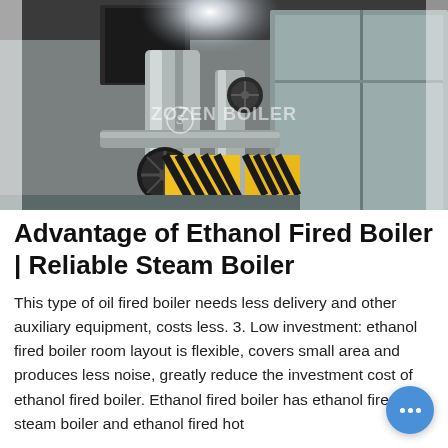[Figure (photo): Industrial boiler room interior showing large metallic boiler equipment, valves, pipes, and yellow-black striped safety markings. ZOZEN BOILER watermark visible on the image.]
Advantage of Ethanol Fired Boiler | Reliable Steam Boiler
This type of oil fired boiler needs less delivery and other auxiliary equipment, costs less. 3. Low investment: ethanol fired boiler room layout is flexible, covers small area and produces less noise, greatly reduce the investment cost of ethanol fired boiler. Ethanol fired boiler has ethanol fired steam boiler and ethanol fired hot